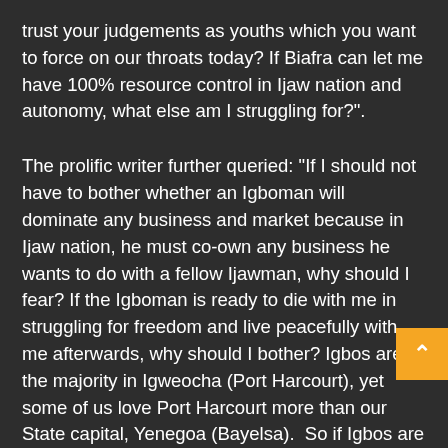trust your judgements as youths which you want to force on our throats today? If Biafra can let me have 100% resource control in Ijaw nation and autonomy, what else am I struggling for?".
The prolific writer further queried: "If I should not have to bother whether an Igboman will dominate any business and market because in Ijaw nation, he must co-own any business he wants to do with a fellow Ijawman, why should I fear? If the Igboman is ready to die with me in struggling for freedom and live peacefully with me afterwards, why should I bother? Igbos are the majority in Igweocha (Port Harcourt), yet some of us love Port Harcourt more than our State capital, Yenegoa (Bayelsa).  So if Igbos are not good people to live with, why have we not fought with them or have any reason to fight with them?".
"We keep talking of how Igbos cannot be trusted, yet we